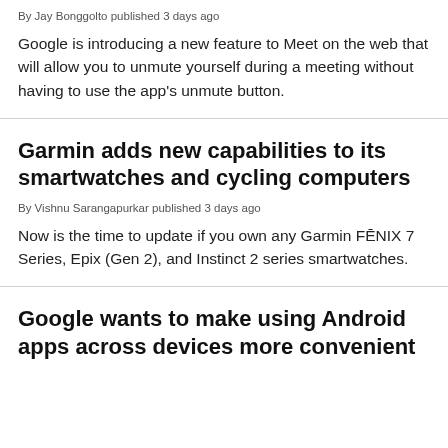By Jay Bonggolto published 3 days ago
Google is introducing a new feature to Meet on the web that will allow you to unmute yourself during a meeting without having to use the app's unmute button.
Garmin adds new capabilities to its smartwatches and cycling computers
By Vishnu Sarangapurkar published 3 days ago
Now is the time to update if you own any Garmin FĒNIX 7 Series, Epix (Gen 2), and Instinct 2 series smartwatches.
Google wants to make using Android apps across devices more convenient